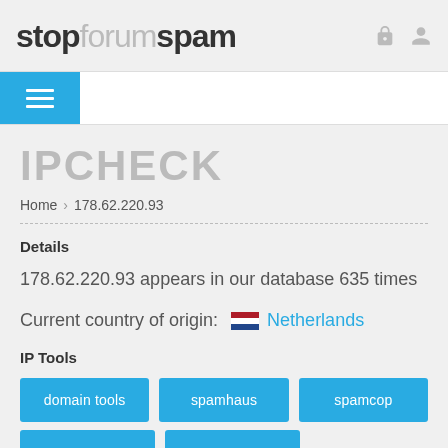stopforumspam
IPCHECK
Home > 178.62.220.93
Details
178.62.220.93 appears in our database 635 times
Current country of origin: Netherlands
IP Tools
domain tools
spamhaus
spamcop